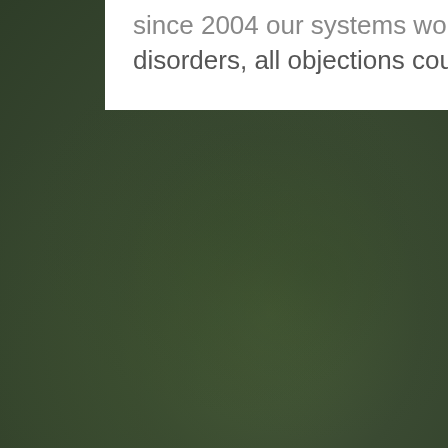since 2004 our systems work without major disorders, all objections could be solved on site.